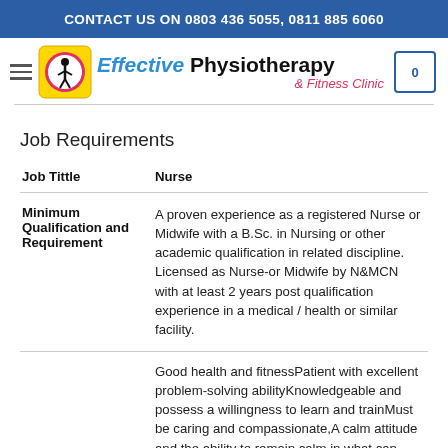CONTACT US ON 0803 436 5055, 0811 885 6060
[Figure (logo): Effective Physiotherapy & Fitness Clinic logo with icon, wordmark, and shopping cart showing 0 items]
Job Requirements
|  |  |
| --- | --- |
| Job Tittle | Nurse |
| Minimum Qualification and Requirement | A proven experience as a registered Nurse or Midwife with a B.Sc. in Nursing or other academic qualification in related discipline. Licensed as Nurse-or Midwife by N&MCN with at least 2 years post qualification experience in a medical / health or similar facility. |
|  | Good health and fitnessPatient with excellent problem-solving abilityKnowledgeable and possess a willingness to learn and trainMust be caring and compassionate,A calm attitude and the ability to remain calm in what can |